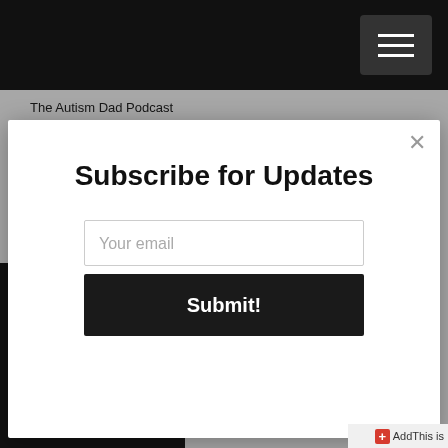The Autism Dad Podcast
"One Dad's Autism Parenting Journey" (feat. Paul Cimins) S5E29
Subscribe for Updates
Your email
Submit!
AddThis is